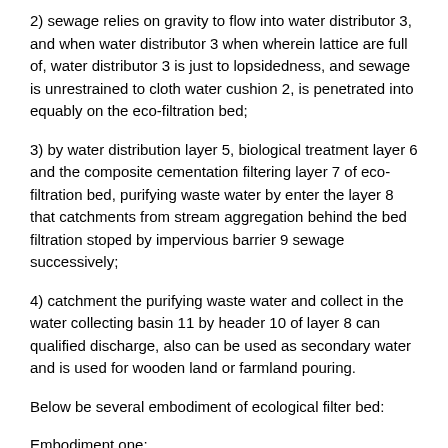2) sewage relies on gravity to flow into water distributor 3, and when water distributor 3 when wherein lattice are full of, water distributor 3 is just to lopsidedness, and sewage is unrestrained to cloth water cushion 2, is penetrated into equably on the eco-filtration bed;
3) by water distribution layer 5, biological treatment layer 6 and the composite cementation filtering layer 7 of eco-filtration bed, purifying waste water by enter the layer 8 that catchments from stream aggregation behind the bed filtration stoped by impervious barrier 9 sewage successively;
4) catchment the purifying waste water and collect in the water collecting basin 11 by header 10 of layer 8 can qualified discharge, also can be used as secondary water and is used for wooden land or farmland pouring.
Below be several embodiment of ecological filter bed:
Embodiment one:
The eco-filtration bed is followed successively by from bottom to top: